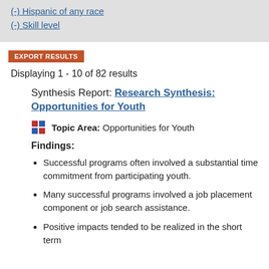(-) Hispanic of any race
(-) Skill level
EXPORT RESULTS
Displaying 1 - 10 of 82 results
Synthesis Report: Research Synthesis: Opportunities for Youth
Topic Area: Opportunities for Youth
Findings:
Successful programs often involved a substantial time commitment from participating youth.
Many successful programs involved a job placement component or job search assistance.
Positive impacts tended to be realized in the short term